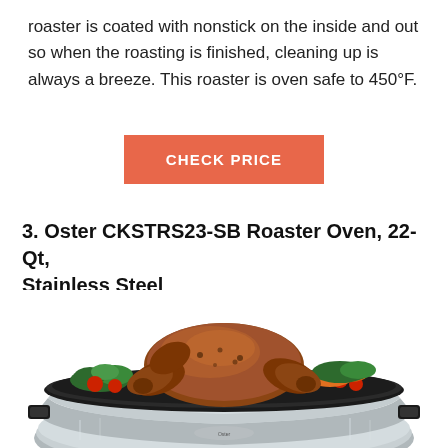roaster is coated with nonstick on the inside and out so when the roasting is finished, cleaning up is always a breeze. This roaster is oven safe to 450°F.
CHECK PRICE
3. Oster CKSTRS23-SB Roaster Oven, 22-Qt, Stainless Steel
[Figure (photo): Photo of an Oster stainless steel roaster oven (CKSTRS23-SB) with a whole roasted turkey/chicken and vegetables inside, shown with lid removed.]